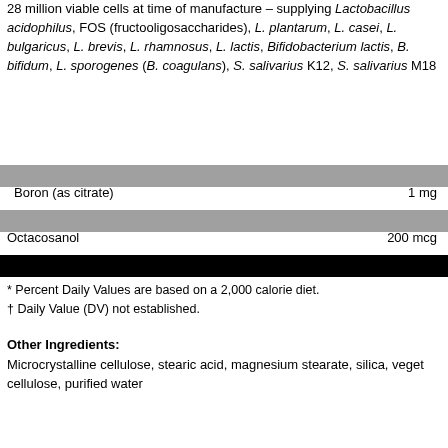28 million viable cells at time of manufacture – supplying Lactobacillus acidophilus, FOS (fructooligosaccharides), L. plantarum, L. casei, L. bulgaricus, L. brevis, L. rhamnosus, L. lactis, Bifidobacterium lactis, B. bifidum, L. sporogenes (B. coagulans), S. salivarius K12, S. salivarius M18
| Ingredient | Amount |
| --- | --- |
| Boron (as citrate) | 1 mg |
| Octacosanol | 200 mcg |
* Percent Daily Values are based on a 2,000 calorie diet.
† Daily Value (DV) not established.
Other Ingredients: Microcrystalline cellulose, stearic acid, magnesium stearate, silica, vegetable cellulose, purified water